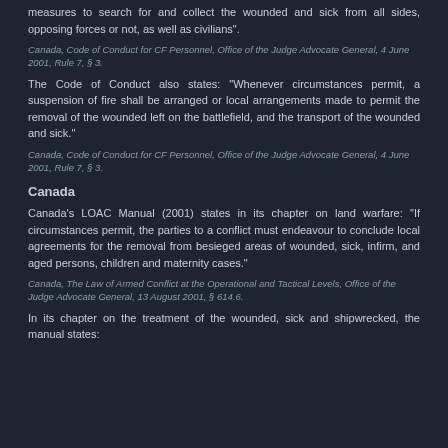measures to search for and collect the wounded and sick from all sides, opposing forces or not, as well as civilians".
Canada, Code of Conduct for CF Personnel, Office of the Judge Advocate General, 4 June 2001, Rule 7, § 3.
The Code of Conduct also states: "Whenever circumstances permit, a suspension of fire shall be arranged or local arrangements made to permit the removal of the wounded left on the battlefield, and the transport of the wounded and sick."
Canada, Code of Conduct for CF Personnel, Office of the Judge Advocate General, 4 June 2001, Rule 7, § 3.
Canada
Canada's LOAC Manual (2001) states in its chapter on land warfare: "If circumstances permit, the parties to a conflict must endeavour to conclude local agreements for the removal from besieged areas of wounded, sick, infirm, and aged persons, children and maternity cases."
Canada, The Law of Armed Conflict at the Operational and Tactical Levels, Office of the Judge Advocate General, 13 August 2001, § 614.6.
In its chapter on the treatment of the wounded, sick and shipwrecked, the manual states: